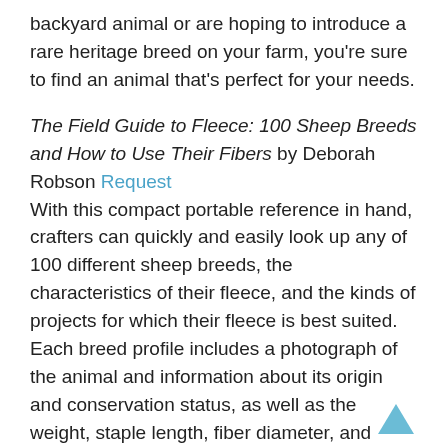backyard animal or are hoping to introduce a rare heritage breed on your farm, you're sure to find an animal that's perfect for your needs.
The Field Guide to Fleece: 100 Sheep Breeds and How to Use Their Fibers by Deborah Robson Request With this compact portable reference in hand, crafters can quickly and easily look up any of 100 different sheep breeds, the characteristics of their fleece, and the kinds of projects for which their fleece is best suited. Each breed profile includes a photograph of the animal and information about its origin and conservation status, as well as the weight, staple length, fiber diameter, and natural colors of its fleece. This is a great primer for beginners, and a handy guide for anyone who loves working with fleece.